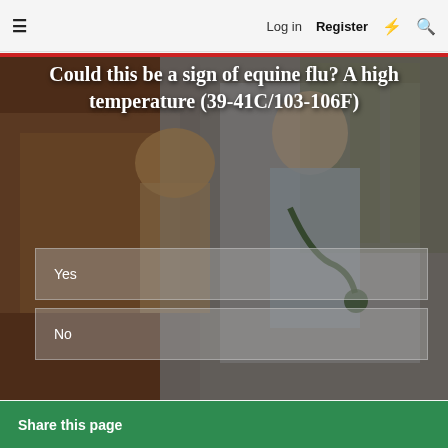☰  Log in  Register  ⚡  🔍
Could this be a sign of equine flu? A high temperature (39-41C/103-106F)
Yes
No
Share this page